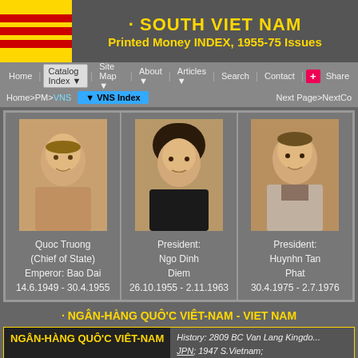[Figure (illustration): Flag of South Vietnam - yellow background with three horizontal red stripes]
· SOUTH VIET NAM Printed Money INDEX, 1955-75 Issues
Home | Catalog Index | Site Map | About | Articles | Search | Contact | Share
Home>PM>VNS   ▼ VNS Index   Next Page>NextCo...
[Figure (photo): Portrait of Quoc Truong (Chief of State) Emperor: Bao Dai, 14.6.1949 - 30.4.1955]
[Figure (photo): Portrait of President: Ngo Dinh Diem, 26.10.1955 - 2.11.1963]
[Figure (photo): Portrait of President: Huynhn Tan Phat, 30.4.1975 - 2.7.1976]
· NGÂN-HÀNG QUÔ'C VIÊT-NAM  - VIET NAM
NGÂN-HÀNG QUÔ'C VIÊT-NAM · Republic of South Vietnam
History: 2809 BC Van Lang Kingdom; JPN; 1947 S.Vietnam; 1955 Rep.; 1975 Rep. South Vietnam
Currency History: FIC currency until 1954; VNS French Indo-China banknotes used from 1876-1954; For later iss...